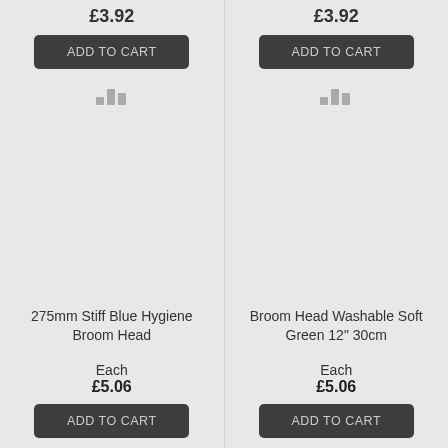£3.92
ADD TO CART
[Figure (other): Bar chart icon (popularity/comparison indicator), grey color]
275mm Stiff Blue Hygiene Broom Head
Each
£5.06
ADD TO CART
£3.92
ADD TO CART
[Figure (other): Bar chart icon (popularity/comparison indicator), grey color]
Broom Head Washable Soft Green 12" 30cm
Each
£5.06
ADD TO CART